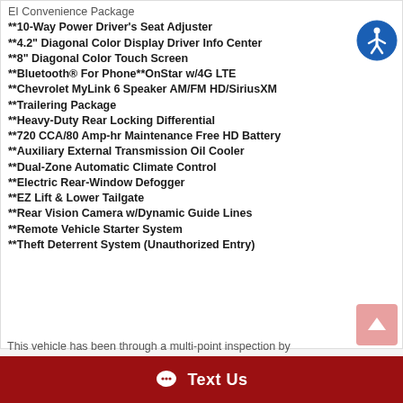EI Convenience Package
**10-Way Power Driver's Seat Adjuster
**4.2" Diagonal Color Display Driver Info Center
**8" Diagonal Color Touch Screen
**Bluetooth® For Phone**OnStar w/4G LTE
**Chevrolet MyLink 6 Speaker AM/FM HD/SiriusXM
**Trailering Package
**Heavy-Duty Rear Locking Differential
**720 CCA/80 Amp-hr Maintenance Free HD Battery
**Auxiliary External Transmission Oil Cooler
**Dual-Zone Automatic Climate Control
**Electric Rear-Window Defogger
**EZ Lift & Lower Tailgate
**Rear Vision Camera w/Dynamic Guide Lines
**Remote Vehicle Starter System
**Theft Deterrent System (Unauthorized Entry)
This vehicle has been through a multi-point inspection by
Text Us